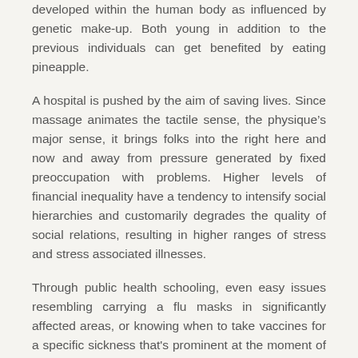developed within the human body as influenced by genetic make-up. Both young in addition to the previous individuals can get benefited by eating pineapple.
A hospital is pushed by the aim of saving lives. Since massage animates the tactile sense, the physique’s major sense, it brings folks into the right here and now and away from pressure generated by fixed preoccupation with problems. Higher levels of financial inequality have a tendency to intensify social hierarchies and customarily degrades the quality of social relations, resulting in higher ranges of stress and stress associated illnesses.
Through public health schooling, even easy issues resembling carrying a flu masks in significantly affected areas, or knowing when to take vaccines for a specific sickness that's prominent at the moment of the yr, always proves very effective in limiting the variety of individuals affected yearly.
The prostate may be found at the base of the bladder